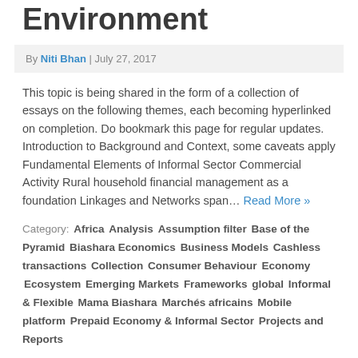Environment
By Niti Bhan | July 27, 2017
This topic is being shared in the form of a collection of essays on the following themes, each becoming hyperlinked on completion. Do bookmark this page for regular updates. Introduction to Background and Context, some caveats apply Fundamental Elements of Informal Sector Commercial Activity Rural household financial management as a foundation Linkages and Networks span… Read More »
Category: Africa  Analysis  Assumption filter  Base of the Pyramid  Biashara Economics  Business Models  Cashless transactions  Collection  Consumer Behaviour  Economy  Ecosystem  Emerging Markets  Frameworks  global  Informal & Flexible  Mama Biashara  Marchés africains  Mobile platform  Prepaid Economy & Informal Sector  Projects and Reports